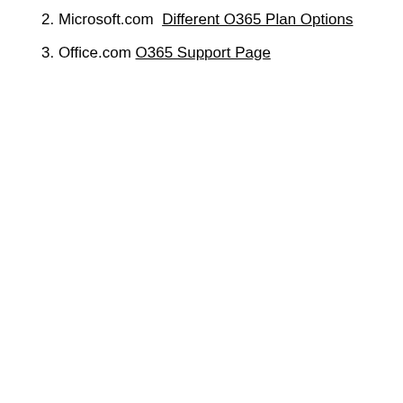2. Microsoft.com  Different O365 Plan Options
3. Office.com O365 Support Page